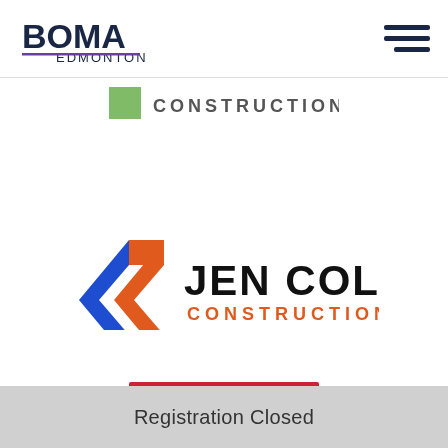[Figure (logo): BOMA Edmonton logo in top left header]
[Figure (logo): Hamburger menu icon in top right header]
[Figure (logo): Partially visible construction company logo at top of content area]
[Figure (logo): Jen Col Construction logo centered on page]
[Figure (logo): Partially visible red logo at bottom]
Registration Closed